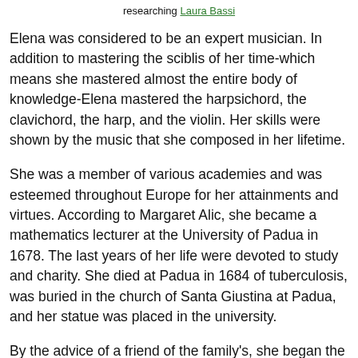researching Laura Bassi
Elena was considered to be an expert musician. In addition to mastering the sciblis of her time-which means she mastered almost the entire body of knowledge-Elena mastered the harpsichord, the clavichord, the harp, and the violin. Her skills were shown by the music that she composed in her lifetime.
She was a member of various academies and was esteemed throughout Europe for her attainments and virtues. According to Margaret Alic, she became a mathematics lecturer at the University of Padua in 1678. The last years of her life were devoted to study and charity. She died at Padua in 1684 of tuberculosis, was buried in the church of Santa Giustina at Padua, and her statue was placed in the university.
By the advice of a friend of the family's, she began the study of latin and Greek and became proficient in the